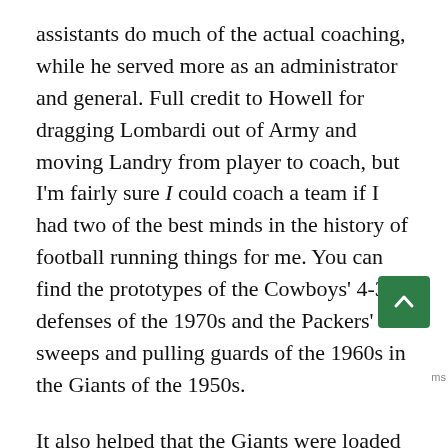assistants do much of the actual coaching, while he served more as an administrator and general. Full credit to Howell for dragging Lombardi out of Army and moving Landry from player to coach, but I'm fairly sure I could coach a team if I had two of the best minds in the history of football running things for me. You can find the prototypes of the Cowboys' 4-3 defenses of the 1970s and the Packers' sweeps and pulling guards of the 1960s in the Giants of the 1950s.
It also helped that the Giants were loaded with superstars. Under Howell, they boasted Hall of Famers Sam Huff, Andy Robustelli, Rosey Brown, Emlen Tunnel, Don Maynard, and Frank Gifford. The last one is a big deal -- Gifford, a college star from Los Angeles who did not get along well at all with Owen, found a lot more success with Howell and Lombardi in charge. Lombardi moved Gifford